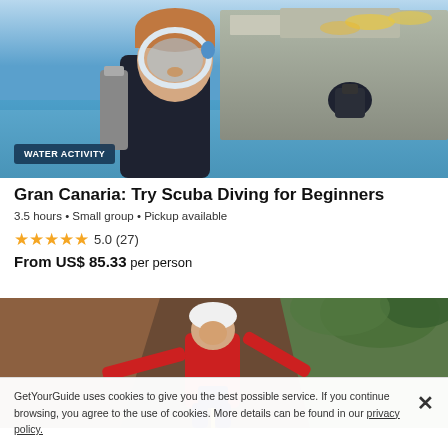[Figure (photo): Scuba diver with mask and gear near rocky coastline and blue water]
WATER ACTIVITY
Gran Canaria: Try Scuba Diving for Beginners
3.5 hours • Small group • Pickup available
★★★★★ 5.0 (27)
From US$ 85.33 per person
[Figure (photo): Person in red wetsuit and helmet rappelling or canyoning in rocky gorge with green vegetation]
GetYourGuide uses cookies to give you the best possible service. If you continue browsing, you agree to the use of cookies. More details can be found in our privacy policy.